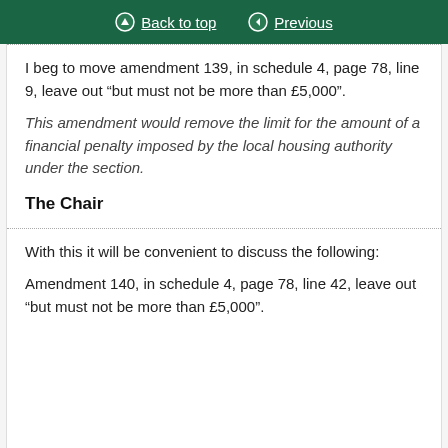Back to top | Previous
I beg to move amendment 139, in schedule 4, page 78, line 9, leave out “but must not be more than £5,000”.
This amendment would remove the limit for the amount of a financial penalty imposed by the local housing authority under the section.
The Chair
With this it will be convenient to discuss the following:
Amendment 140, in schedule 4, page 78, line 42, leave out “but must not be more than £5,000”.